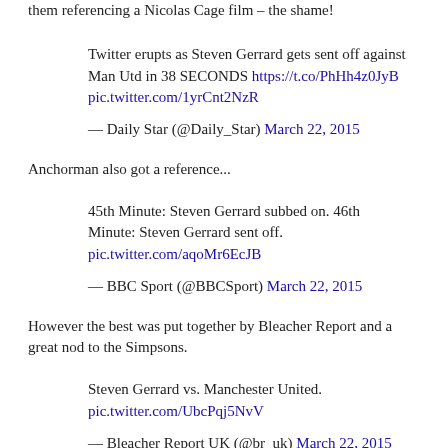them referencing a Nicolas Cage film – the shame!
Twitter erupts as Steven Gerrard gets sent off against Man Utd in 38 SECONDS https://t.co/PhHh4z0JyB pic.twitter.com/1yrCnt2NzR
— Daily Star (@Daily_Star) March 22, 2015
Anchorman also got a reference...
45th Minute: Steven Gerrard subbed on. 46th Minute: Steven Gerrard sent off. pic.twitter.com/aqoMr6EcJB
— BBC Sport (@BBCSport) March 22, 2015
However the best was put together by Bleacher Report and a great nod to the Simpsons.
Steven Gerrard vs. Manchester United. pic.twitter.com/UbcPqj5NvV
— Bleacher Report UK (@br_uk) March 22, 2015
We also LOVED this WWE Royal Rumble skit, which was spot on.
If Steven Gerrard was in the Royal Rumble 🙂 https://t.co/MXQsH5YqNc — Football Tips (@footballtips)